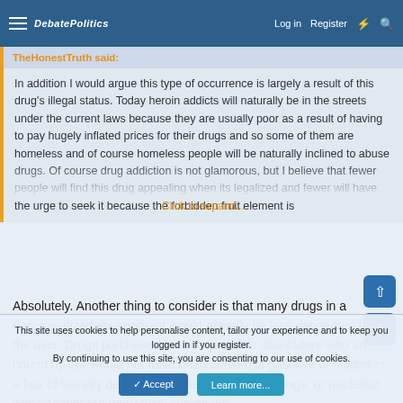DebatePolitics — Log in | Register
TheHonestTruth said:
In addition I would argue this type of occurrence is largely a result of this drug's illegal status. Today heroin addicts will naturally be in the streets under the current laws because they are usually poor as a result of having to pay hugely inflated prices for their drugs and so some of them are homeless and of course homeless people will be naturally inclined to abuse drugs. Of course drug addiction is not glamorous, but I believe that fewer people will find this drug appealing when its legalized and fewer will have the urge to seek it because the forbidden fruit element is
Click to expand...
Absolutely. Another thing to consider is that many drugs in a decriminalized environment would actually be less dangerous for the user. Drugs purchased from responsible distributors who are bound by law would not have been doused in gasoline or hidden in a box of laundry detergent to sneak it past drug dogs, or made/cut with cheaper but more toxic ingredients.
This site uses cookies to help personalise content, tailor your experience and to keep you logged in if you register.
By continuing to use this site, you are consenting to our use of cookies.